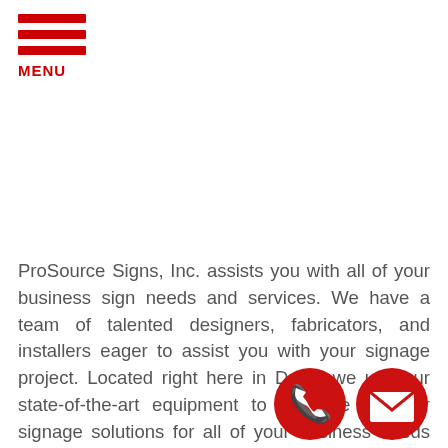MENU
ProSource Signs, Inc. assists you with all of your business sign needs and services. We have a team of talented designers, fabricators, and installers eager to assist you with your signage project. Located right here in Derry, we use our state-of-the-art equipment to fabricate superior signage solutions for all of your business needs and goals. Our talented, experienced professionals are dedicated to crafting signs that fit your business brand goals. We utilize your branding, logo, and ideas to bring your vision to
[Figure (illustration): Red phone call button icon (circular red background with white phone handset)]
[Figure (illustration): Red email/envelope button icon (circular red background with white envelope)]